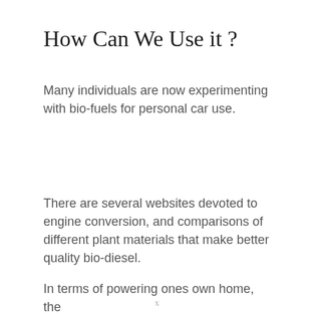How Can We Use it ?
Many individuals are now experimenting with bio-fuels for personal car use.
There are several websites devoted to engine conversion, and comparisons of different plant materials that make better quality bio-diesel.
In terms of powering ones own home, the
x